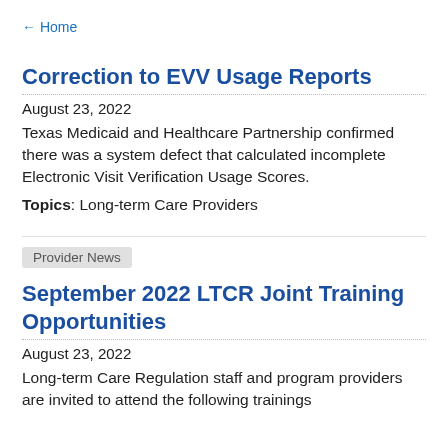← Home
Correction to EVV Usage Reports
August 23, 2022
Texas Medicaid and Healthcare Partnership confirmed there was a system defect that calculated incomplete Electronic Visit Verification Usage Scores.
Topics: Long-term Care Providers
Provider News
September 2022 LTCR Joint Training Opportunities
August 23, 2022
Long-term Care Regulation staff and program providers are invited to attend the following trainings